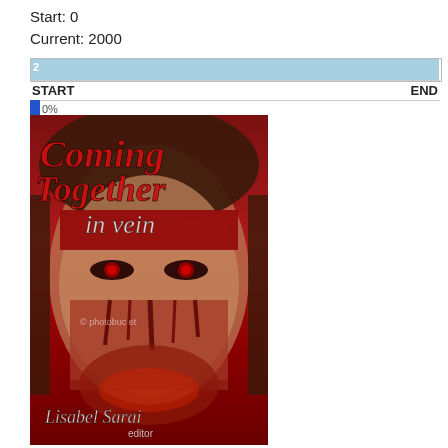Start: 0
Current: 2000
[Figure (other): Progress bar showing current position 2000, with START and END labels, and a blue filled bar spanning nearly full width. A small blue thumb indicator on the left below the bar.]
[Figure (photo): Book cover for 'Coming Together in Vein' edited by Lisabel Sarai. Red-themed cover featuring a woman's face with red eyes and a bloody hand covering the lower half of her face. Title text in stylized lettering at top.]
Includes my story "My Soul to Take." All